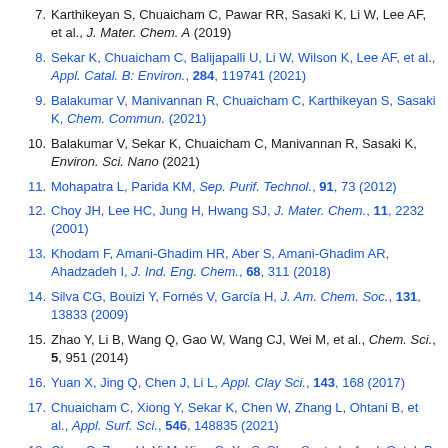7. Karthikeyan S, Chuaicham C, Pawar RR, Sasaki K, Li W, Lee AF, et al., J. Mater. Chem. A (2019)
8. Sekar K, Chuaicham C, Balijapalli U, Li W, Wilson K, Lee AF, et al., Appl. Catal. B: Environ., 284, 119741 (2021)
9. Balakumar V, Manivannan R, Chuaicham C, Karthikeyan S, Sasaki K, Chem. Commun. (2021)
10. Balakumar V, Sekar K, Chuaicham C, Manivannan R, Sasaki K, Environ. Sci. Nano (2021)
11. Mohapatra L, Parida KM, Sep. Purif. Technol., 91, 73 (2012)
12. Choy JH, Lee HC, Jung H, Hwang SJ, J. Mater. Chem., 11, 2232 (2001)
13. Khodam F, Amani-Ghadim HR, Aber S, Amani-Ghadim AR, Ahadzadeh I, J. Ind. Eng. Chem., 68, 311 (2018)
14. Silva CG, Bouizi Y, Fornés V, García H, J. Am. Chem. Soc., 131, 13833 (2009)
15. Zhao Y, Li B, Wang Q, Gao W, Wang CJ, Wei M, et al., Chem. Sci., 5, 951 (2014)
16. Yuan X, Jing Q, Chen J, Li L, Appl. Clay Sci., 143, 168 (2017)
17. Chuaicham C, Xiong Y, Sekar K, Chen W, Zhang L, Ohtani B, et al., Appl. Surf. Sci., 546, 148835 (2021)
18. Chen C, Zeng H, Yi M, Xiao G, Xu S, Shen S, et al., Appl. Catal. B: Environ., 252, 47 (2019)
19. Huang D, Ma J, Yu L, Wu D, Wang K, Yang M, et al., Sep. Purif.